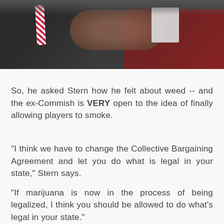[Figure (photo): Photo of people in suits sitting together, one wearing a striped red and white tie, another in a maroon/burgundy outfit, appears to be a meeting or interview setting]
So, he asked Stern how he felt about weed -- and the ex-Commish is VERY open to the idea of finally allowing players to smoke.
"I think we have to change the Collective Bargaining Agreement and let you do what is legal in your state," Stern says.
"If marijuana is now in the process of being legalized, I think you should be allowed to do what's legal in your state."
Stern says back when he was the commish, public